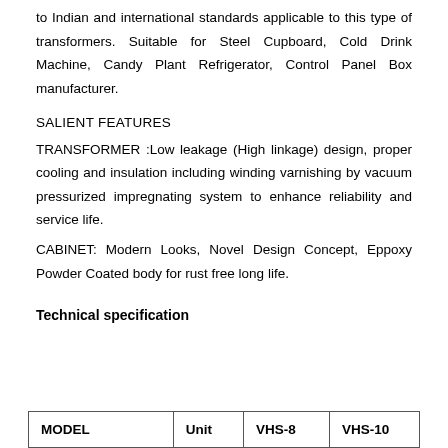to Indian and international standards applicable to this type of transformers. Suitable for Steel Cupboard, Cold Drink Machine, Candy Plant Refrigerator, Control Panel Box manufacturer.
SALIENT FEATURES
TRANSFORMER :Low leakage (High linkage) design, proper cooling and insulation including winding varnishing by vacuum pressurized impregnating system to enhance reliability and service life.
CABINET: Modern Looks, Novel Design Concept, Eppoxy Powder Coated body for rust free long life.
Technical specification
| MODEL | Unit | VHS-8 | VHS-10 |
| --- | --- | --- | --- |